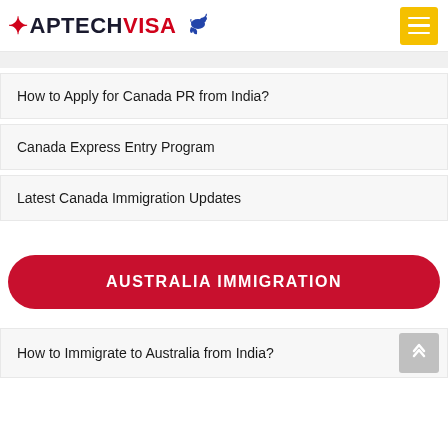APTECHVISA
How to Apply for Canada PR from India?
Canada Express Entry Program
Latest Canada Immigration Updates
AUSTRALIA IMMIGRATION
How to Immigrate to Australia from India?